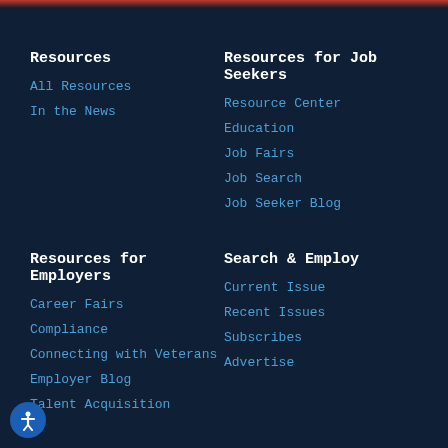Resources
All Resources
In the News
Resources for Job Seekers
Resource Center
Education
Job Fairs
Job Search
Job Seeker Blog
Resources for Employers
Career Fairs
Compliance
Connecting with Veterans
Employer Blog
Talent Acquisition
Search & Employ
Current Issue
Recent Issues
Subscribes
Advertise
Solutions
About